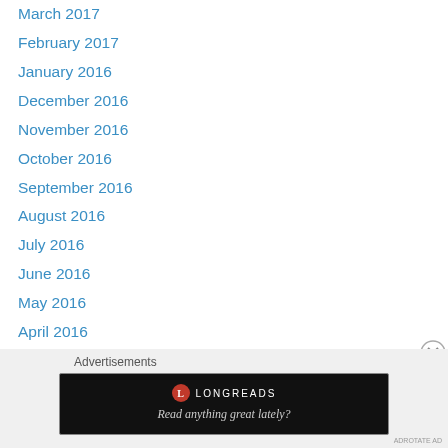March 2017
February 2017
January 2016
December 2016
November 2016
October 2016
September 2016
August 2016
July 2016
June 2016
May 2016
April 2016
March 2016
February 2016
January 2016
December 2015
November 2015
[Figure (screenshot): Longreads advertisement banner: logo with red circle L, brand name LONGREADS, tagline 'Read anything great lately?' on black background]
ADROTATE AD